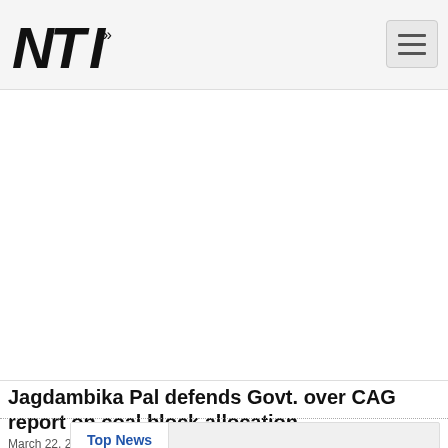NTI logo and navigation
[Figure (other): Advertisement / blank area]
Jagdambika Pal defends Govt. over CAG report on coal block allocation
March 22, 2012 at 4:00 PM
New Delhi, Mar 22 (ANI): Amid sharp criticism from leaders of various political outfits over a Comptroller and Auditor General (CAG) report on coal block allocation that reported a loss of Rs 10.67 lakh crore, Congress leader Jagdambika Pal on Thursday defended the government, saying if the coalfields had been auctioned, it would have led to a rise in the cost of power generation.
Top News